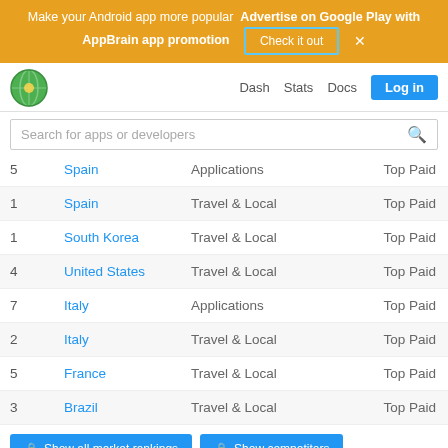Make your Android app more popular  Advertise on Google Play with AppBrain app promotion  Check it out  ×
[Figure (logo): AppBrain globe logo icon]
Dash  Stats  Docs  Log in
Search for apps or developers
| Rank | Country | Category | Type |
| --- | --- | --- | --- |
| 5 | Spain | Applications | Top Paid |
| 1 | Spain | Travel & Local | Top Paid |
| 1 | South Korea | Travel & Local | Top Paid |
| 4 | United States | Travel & Local | Top Paid |
| 7 | Italy | Applications | Top Paid |
| 2 | Italy | Travel & Local | Top Paid |
| 5 | France | Travel & Local | Top Paid |
| 3 | Brazil | Travel & Local | Top Paid |
🔒 Show all market rankings   🔒 Show competitors